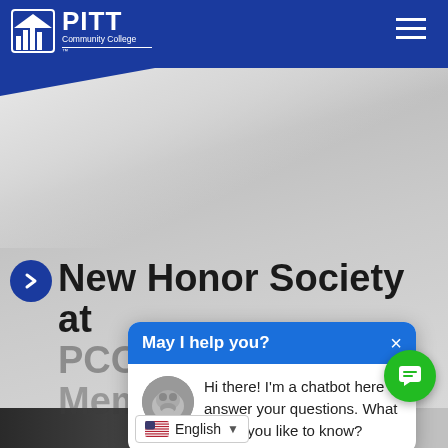PITT Community College
New Honor Society at PCC Inducts 23 Members
[Figure (screenshot): Chatbot popup dialog with header 'May I help you?' and message 'Hi there! I'm a chatbot here to answer your questions. What would you like to know?']
English